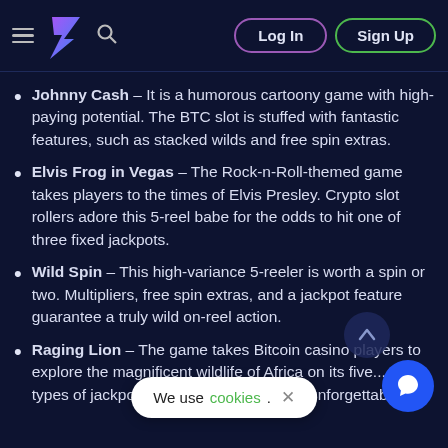Navigation header with hamburger menu, logo, search icon, Log In and Sign Up buttons
Johnny Cash – It is a humorous cartoony game with high-paying potential. The BTC slot is stuffed with fantastic features, such as stacked wilds and free spin extras.
Elvis Frog in Vegas – The Rock-n-Roll-themed game takes players to the times of Elvis Presley. Crypto slot rollers adore this 5-reel babe for the odds to hit one of three fixed jackpots.
Wild Spin – This high-variance 5-reeler is worth a spin or two. Multipliers, free spin extras, and a jackpot feature guarantee a truly wild on-reel action.
Raging Lion – The game takes Bitcoin casino players to explore the magnificent wildlife of Africa on its five... Four types of jackpots will make your journey unforgettable.
We use cookies. ×